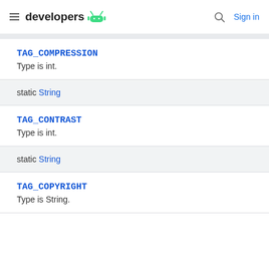developers [android logo] | Search | Sign in
TAG_COMPRESSION
Type is int.
static String
TAG_CONTRAST
Type is int.
static String
TAG_COPYRIGHT
Type is String.